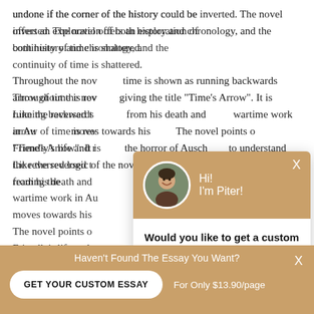undone if the corner of the history could be inverted. The novel offers an exploration of both history and chronology, and the continuity of time is shattered.
Throughout the novel, time is shown as running backwards, and the traditional arrow of time is reversed, giving the title "Time's Arrow". It is a story told backwards. Like the reversed time, the narrator moves from his death and works his way back to his wartime work in Auschwitz. The narrator moves towards his birth rather than death. The novel points out that there is more to Friendly's life and more to the horror of Auschwitz. The reader needs to understand the reversed logic of the novel and its backward process while reading the
[Figure (photo): Chat popup overlay with avatar photo of a young smiling man (Piter), greeting message 'Hi! I'm Piter!', and prompt 'Would you like to get a custom essay? How about receiving a customized one?' with a 'Check it out' link.]
Haven't Found The Essay You Want?
GET YOUR CUSTOM ESSAY
For Only $13.90/page